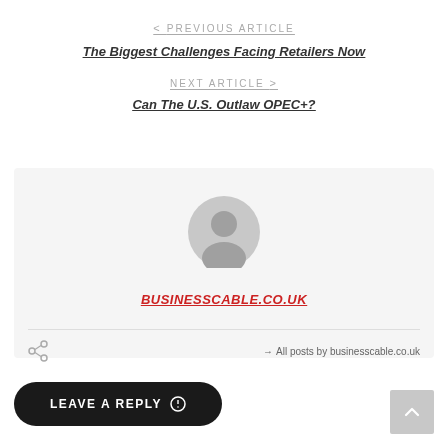< PREVIOUS ARTICLE
The Biggest Challenges Facing Retailers Now
NEXT ARTICLE >
Can The U.S. Outlaw OPEC+?
[Figure (illustration): Generic user avatar circle icon in grey]
BUSINESSCABLE.CO.UK
→ All posts by businesscable.co.uk
LEAVE A REPLY